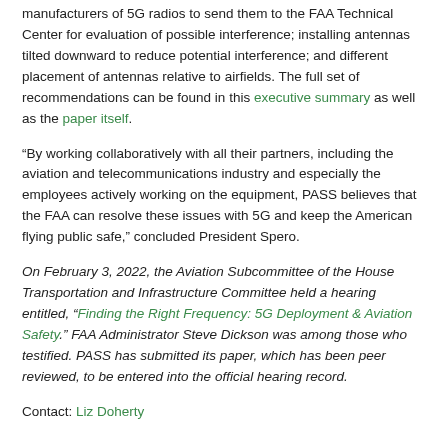manufacturers of 5G radios to send them to the FAA Technical Center for evaluation of possible interference; installing antennas tilted downward to reduce potential interference; and different placement of antennas relative to airfields. The full set of recommendations can be found in this executive summary as well as the paper itself.
“By working collaboratively with all their partners, including the aviation and telecommunications industry and especially the employees actively working on the equipment, PASS believes that the FAA can resolve these issues with 5G and keep the American flying public safe,” concluded President Spero.
On February 3, 2022, the Aviation Subcommittee of the House Transportation and Infrastructure Committee held a hearing entitled, “Finding the Right Frequency: 5G Deployment & Aviation Safety.” FAA Administrator Steve Dickson was among those who testified. PASS has submitted its paper, which has been peer reviewed, to be entered into the official hearing record.
Contact: Liz Doherty